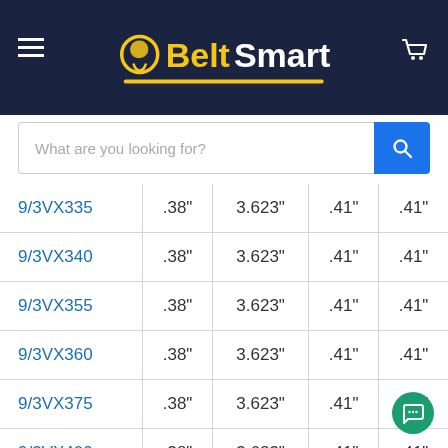Belt Smart — navigation header with logo and search bar
| 9/3VX335 | .38" | 3.623" | .41" | .41" |
| 9/3VX340 | .38" | 3.623" | .41" | .41" |
| 9/3VX355 | .38" | 3.623" | .41" | .41" |
| 9/3VX360 | .38" | 3.623" | .41" | .41" |
| 9/3VX375 | .38" | 3.623" | .41" | .41" |
| 9/3VX400 | .38" | 3.623" | .41" | .41" |
| 9/3VX415 | .38" | 3.623" | .41" | .41" |